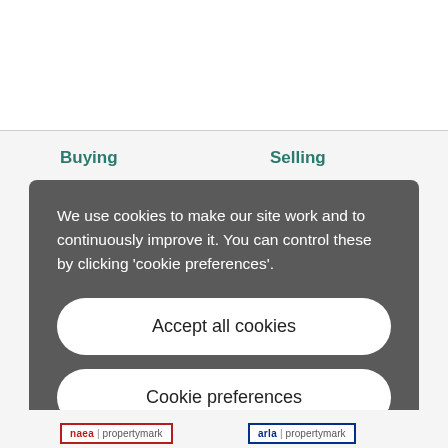Buying
Selling
We use cookies to make our site work and to continuously improve it. You can control these by clicking 'cookie preferences'.
Accept all cookies
Cookie preferences
naea | propertymark   arla | propertymark